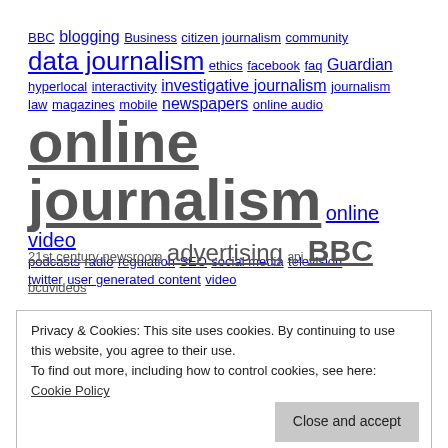[Figure (other): Tag cloud 1: BBC blogging Business citizen journalism community data journalism ethics facebook faq Guardian hyperlocal interactivity investigative journalism journalism law magazines mobile newspapers online audio online journalism online video podcasts radio regulation SEO social media television twitter user generated content video]
[Figure (other): Tag cloud 2: 21st century newsroom advertising api BBC bcuvideos birmingham business models citizen journalism comments community computer aided reporting]
Privacy & Cookies: This site uses cookies. By continuing to use this website, you agree to their use.
To find out more, including how to control cookies, see here: Cookie Policy
hyperlocal forces independent interactivity, investigative journalism journalism